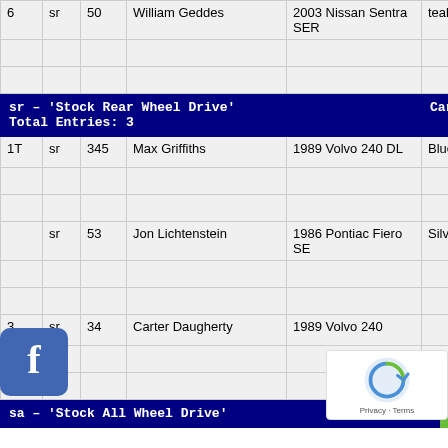| Pos | Cls | Num | Name | Car | Color |
| --- | --- | --- | --- | --- | --- |
| 6 | sr | 50 | William Geddes | 2003 Nissan Sentra SER | teal |
|  |  |  |  |  |  |
|  |  |  |  |  |  |
| sr – 'Stock Rear Wheel Drive'  Total Entries: 3 |  |  |  |  | Car |
| 1T | sr | 345 | Max Griffiths | 1989 Volvo 240 DL | Blue |
|  |  |  |  |  |  |
|  |  |  |  |  |  |
| sr | 53 | Jon Lichtenstein | 1986 Pontiac Fiero SE | Silver |  |
|  |  |  |  |  |  |
| 3 | sr | 34 | Carter Daugherty | 1989 Volvo 240 |  |
|  |  |  |  |  |  |
|  |  |  |  |  |  |
| sa – 'Stock All Wheel Drive' |  |  |  |  | Car |